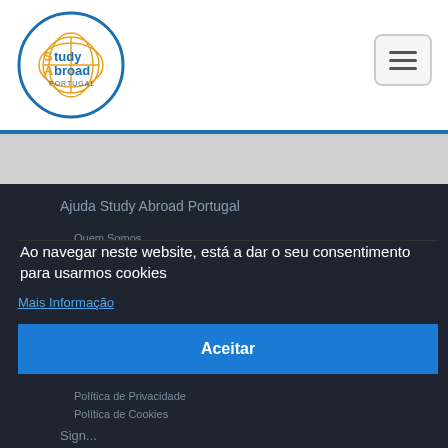[Figure (logo): Study Abroad Portugal circular logo with globe graphic, blue circle border, orange 'S' and 'A' letters]
[Figure (other): Hamburger menu button with three horizontal lines in a rounded rectangle]
Ajuda Study Abroad Portugal
Quem Somos
Descubra Portugal
Parcerias
Apoios
Ao navegar neste website, está a dar o seu consentimento para usarmos cookies
Mais Informação
Aceitar
Informação Legal
Política de Privacidade
Política de Cookies
Sign...